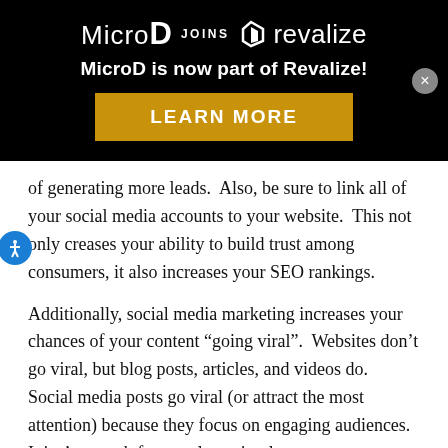[Figure (logo): MicroD joins Revalize banner with black background, logo row showing MicroD JOINS revalize with polygon icon, subtitle 'MicroD is now part of Revalize!', and a gold LEARN MORE button. A close (×) button appears in the top right.]
of generating more leads.  Also, be sure to link all of your social media accounts to your website.  This not only creases your ability to build trust among consumers, it also increases your SEO rankings.
Additionally, social media marketing increases your chances of your content “going viral”.  Websites don’t go viral, but blog posts, articles, and videos do.  Social media posts go viral (or attract the most attention) because they focus on engaging audiences.  It isn’t enough for people to simply see your posts; they need to engage with it, click the Like